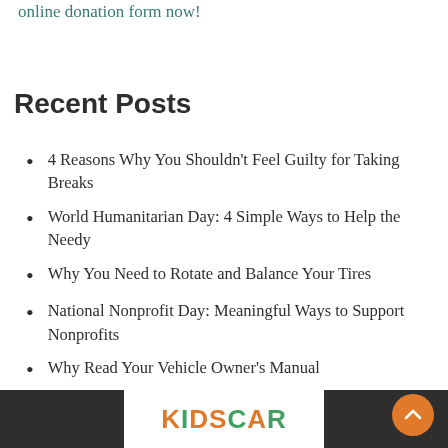online donation form now!
Recent Posts
4 Reasons Why You Shouldn't Feel Guilty for Taking Breaks
World Humanitarian Day: 4 Simple Ways to Help the Needy
Why You Need to Rotate and Balance Your Tires
National Nonprofit Day: Meaningful Ways to Support Nonprofits
Why Read Your Vehicle Owner's Manual
[Figure (logo): KidsCar logo in orange and green lettering on white background, set within a dark footer bar]
Footer bar with KidsCar logo